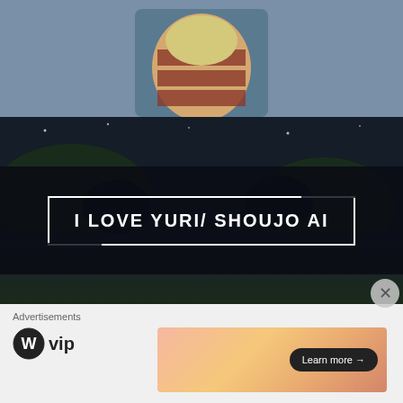[Figure (illustration): Anime-style illustration: top portion shows an anime character in a chair with warm/brown tones and teal background. Lower portion shows two anime characters in a dark outdoor night scene with greenery.]
I LOVE YURI/ SHOUJO AI
(Saki and Maria from Shinsekai Yori) What is Yuri? Yuri is a genre of anime, manga, or hentai that features female homosexual couples. Very
Advertisements
[Figure (logo): WordPress VIP logo — circular W mark followed by 'vip' text]
[Figure (infographic): Advertisement banner with warm orange/peach gradient and 'Learn more →' button]